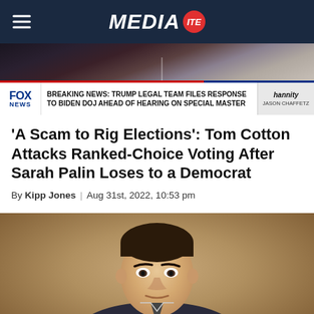MEDIA ITE
[Figure (screenshot): Fox News screenshot showing breaking news ticker: 'BREAKING NEWS: TRUMP LEGAL TEAM FILES RESPONSE TO BIDEN DOJ AHEAD OF HEARING ON SPECIAL MASTER' with Jason Chaffetz visible in corner]
'A Scam to Rig Elections': Tom Cotton Attacks Ranked-Choice Voting After Sarah Palin Loses to a Democrat
By Kipp Jones | Aug 31st, 2022, 10:53 pm
[Figure (photo): Photo of Tom Cotton, a man with short dark hair, looking forward, against a tan/brown background]